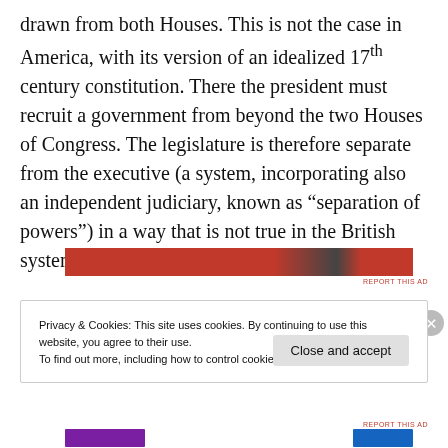drawn from both Houses. This is not the case in America, with its version of an idealized 17th century constitution. There the president must recruit a government from beyond the two Houses of Congress. The legislature is therefore separate from the executive (a system, incorporating also an independent judiciary, known as “separation of powers”) in a way that is not true in the British system.
[Figure (other): Red advertisement banner with dark silhouette image in center]
Privacy & Cookies: This site uses cookies. By continuing to use this website, you agree to their use. To find out more, including how to control cookies, see here: Cookie Policy
Close and accept
[Figure (other): Bottom advertisement bar with purple and blue brand elements]